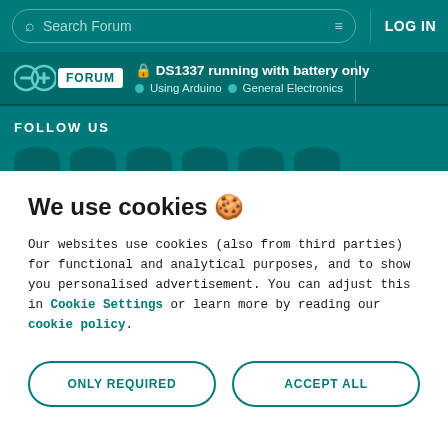Search Forum | LOG IN
DS1337 running with battery only
Using Arduino > General Electronics
FOLLOW US
We use cookies 🍪
Our websites use cookies (also from third parties) for functional and analytical purposes, and to show you personalised advertisement. You can adjust this in Cookie Settings or learn more by reading our cookie policy.
ONLY REQUIRED
ACCEPT ALL